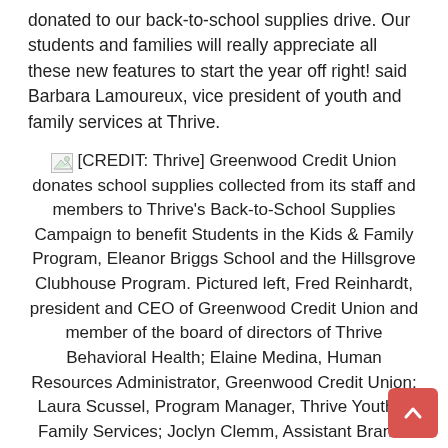donated to our back-to-school supplies drive. Our students and families will really appreciate all these new features to start the year off right! said Barbara Lamoureux, vice president of youth and family services at Thrive.
[CREDIT: Thrive] Greenwood Credit Union donates school supplies collected from its staff and members to Thrive's Back-to-School Supplies Campaign to benefit Students in the Kids & Family Program, Eleanor Briggs School and the Hillsgrove Clubhouse Program. Pictured left, Fred Reinhardt, president and CEO of Greenwood Credit Union and member of the board of directors of Thrive Behavioral Health; Elaine Medina, Human Resources Administrator, Greenwood Credit Union; Laura Scussel, Program Manager, Thrive Youth & Family Services; Joclyn Clemm, Assistant Branch Manager, Greenwood Credit Union; and Dan Kubas-Meyer, President and CEO of Thrive.
[CREDIT: Thrive] Greenwood Credit Union donates school supplies collected from its staff and members to Thrive's Back-to-School Supplies Campaign to benefit students in